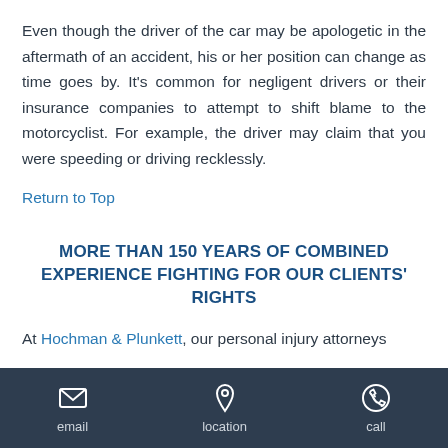Even though the driver of the car may be apologetic in the aftermath of an accident, his or her position can change as time goes by. It's common for negligent drivers or their insurance companies to attempt to shift blame to the motorcyclist. For example, the driver may claim that you were speeding or driving recklessly.
Return to Top
MORE THAN 150 YEARS OF COMBINED EXPERIENCE FIGHTING FOR OUR CLIENTS' RIGHTS
At Hochman & Plunkett, our personal injury attorneys
email  location  call